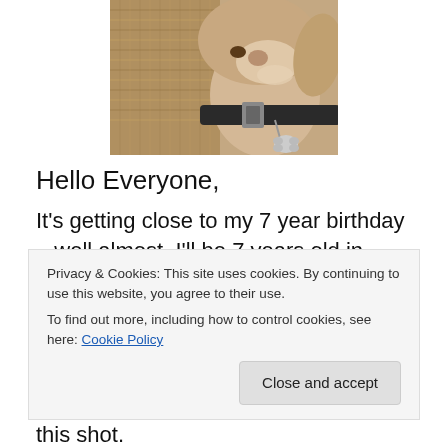[Figure (photo): Close-up photo of a dog wearing a dark collar with a bone-shaped tag, looking down. Background shows woven material.]
Hello Everyone,
It's getting close to my 7 year birthday – well almost.  I'll be 7 years old in January and sometimes I act my age but most of the time NOT! It drives the parentals crazy but it
this shot.
Privacy & Cookies: This site uses cookies. By continuing to use this website, you agree to their use.
To find out more, including how to control cookies, see here: Cookie Policy